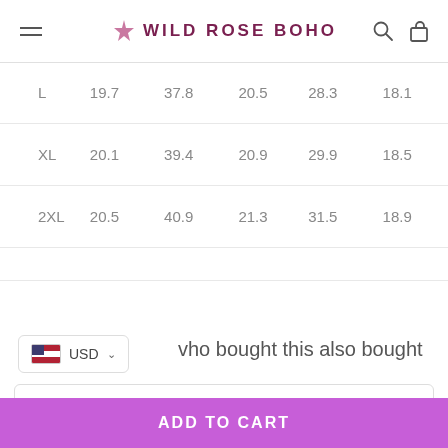Wild Rose Boho
| L | 19.7 | 37.8 | 20.5 | 28.3 | 18.1 |
| XL | 20.1 | 39.4 | 20.9 | 29.9 | 18.5 |
| 2XL | 20.5 | 40.9 | 21.3 | 31.5 | 18.9 |
USD
who bought this also bought
Blue 2 Pieces Set / M
ADD TO CART